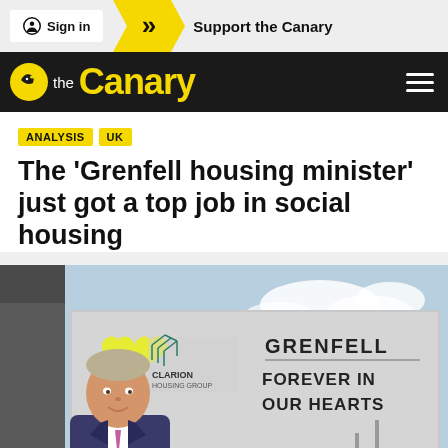Sign in | Support the Canary
[Figure (logo): The Canary logo with yellow bird icon on black navigation bar]
ANALYSIS  UK
The ‘Grenfell housing minister’ just got a top job in social housing
[Figure (photo): Man in suit smiling in front of a Clarion Housing Group billboard reading 'GRENFELL FOREVER IN OUR HEARTS' with a yellow heart logo]